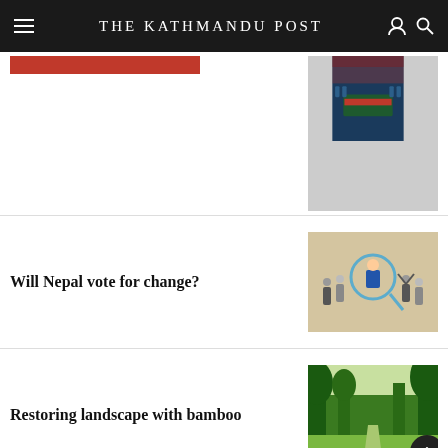THE KATHMANDU POST
[Figure (photo): Partial article image showing a meeting room with long table decorated with red flowers, people seated on both sides]
[Figure (illustration): Illustration showing people silhouettes with a magnifying glass theme, on beige background]
Will Nepal vote for change?
[Figure (photo): Photo of a lush green bamboo/tree landscape with a path]
Restoring landscape with bamboo
[Figure (photo): Photo of Modi]
Modi's damaging dominance